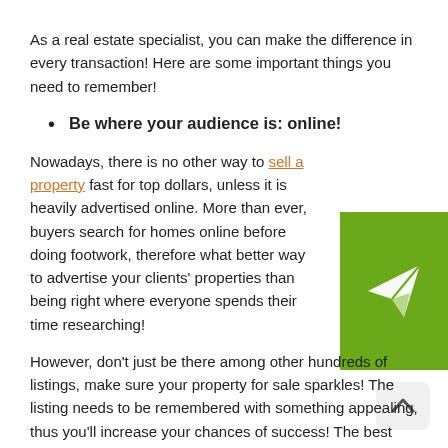As a real estate specialist, you can make the difference in every transaction! Here are some important things you need to remember!
Be where your audience is: online!
[Figure (illustration): Green square icon with white paper plane / send arrow icon]
Nowadays, there is no other way to sell a property fast for top dollars, unless it is heavily advertised online. More than ever, buyers search for homes online before doing footwork, therefore what better way to advertise your clients' properties than being right where everyone spends their time researching!
However, don't just be there among other hundreds of listings, make sure your property for sale sparkles! The listing needs to be remembered with something appealing, thus you'll increase your chances of success! The best way to do it – focus on the strong points of the house and bring to your audience's attention! More than that, you can always
[Figure (illustration): Scroll-to-top button with upward chevron arrow on light gray rounded rectangle]